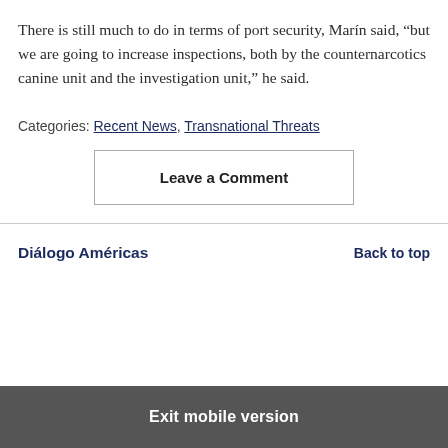There is still much to do in terms of port security, Marín said, “but we are going to increase inspections, both by the counternarcotics canine unit and the investigation unit,” he said.
Categories: Recent News, Transnational Threats
Leave a Comment
Diálogo Américas
Back to top
Exit mobile version